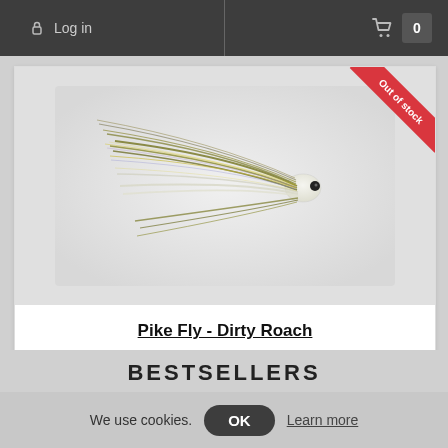Log in | Cart 0
[Figure (photo): Close-up photo of a pike fly fishing lure called 'Dirty Roach' with olive-gold and white feathery materials on a white/grey background. An 'Out of stock' red ribbon badge appears in the top-right corner.]
Pike Fly - Dirty Roach
$10.20
BESTSELLERS
We use cookies.
OK
Learn more